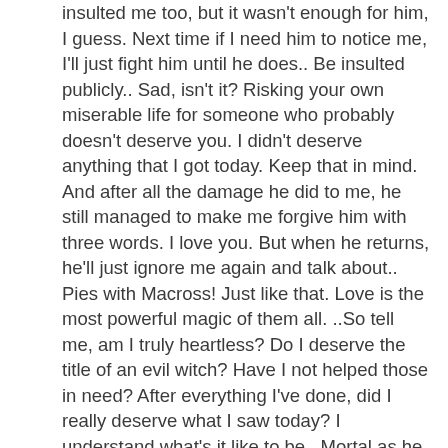insulted me too, but it wasn't enough for him, I guess. Next time if I need him to notice me, I'll just fight him until he does.. Be insulted publicly.. Sad, isn't it? Risking your own miserable life for someone who probably doesn't deserve you. I didn't deserve anything that I got today. Keep that in mind. And after all the damage he did to me, he still managed to make me forgive him with three words. I love you. But when he returns, he'll just ignore me again and talk about.. Pies with Macross! Just like that. Love is the most powerful magic of them all. ..So tell me, am I truly heartless? Do I deserve the title of an evil witch? Have I not helped those in need? After everything I've done, did I really deserve what I saw today? I understand what's it like to be.. Mortal as he put it. I have suffered in my own ways. I did not need a reminder. I don't have parents like most of you don't. I don't have friends. I lived on my own for a century, speaking to myself with no other company. I was a heretic when I was little. I was the reason the humans found my dad and killed him in the first place. I forced him to disguise